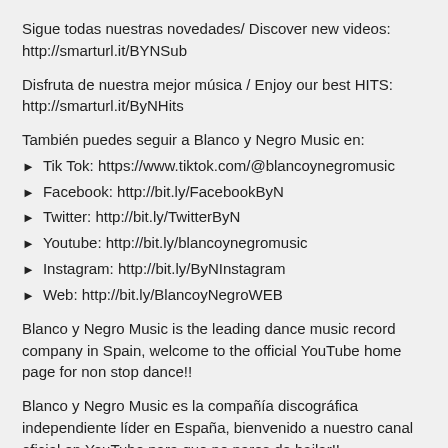Sigue todas nuestras novedades/ Discover new videos: http://smarturl.it/BYNSub
Disfruta de nuestra mejor música / Enjoy our best HITS: http://smarturl.it/ByNHits
También puedes seguir a Blanco y Negro Music en:
► Tik Tok: https://www.tiktok.com/@blancoynegromusic
► Facebook: http://bit.ly/FacebookByN
► Twitter: http://bit.ly/TwitterByN
► Youtube: http://bit.ly/blancoynegromusic
► Instagram: http://bit.ly/ByNInstagram
► Web: http://bit.ly/BlancoyNegroWEB
Blanco y Negro Music is the leading dance music record company in Spain, welcome to the official YouTube home page for non stop dance!!
Blanco y Negro Music es la compañía discográfica independiente líder en España, bienvenido a nuestro canal oficial en YouTube para que no pares de bailar!!